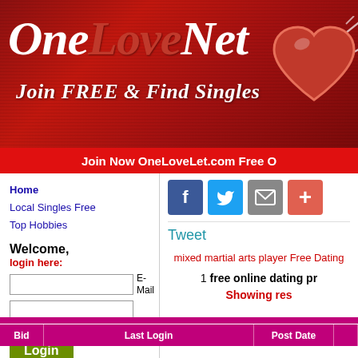[Figure (screenshot): OneLoveLet dating website banner with logo, tagline 'Join FREE & Find Singles', and heart graphic on red background]
Join Now OneLoveLet.com Free O
Home
Local Singles Free
Top Hobbies
Welcome, login here:
E-Mail [input field]
Password
Login button
E-Mail [input field] Send Password button
Free Registration
[Figure (screenshot): Social sharing buttons: Facebook (blue), Twitter (blue), Email/envelope (gray), Plus/add (salmon/orange-red)]
Tweet
mixed martial arts player Free Dating
1 free online dating pr
Showing res
| Bid | Last Login | Post Date |  |
| --- | --- | --- | --- |